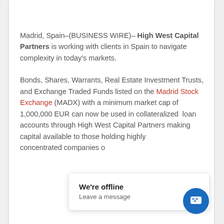Madrid, Spain–(BUSINESS WIRE)– High West Capital Partners is working with clients in Spain to navigate complexity in today's markets.
Bonds, Shares, Warrants, Real Estate Investment Trusts, and Exchange Traded Funds listed on the Madrid Stock Exchange (MADX) with a minimum market cap of 1,000,000 EUR can now be used in collateralized  loan accounts through High West Capital Partners making capital available to those holding highly concentrated ... companies o...
We're offline
Leave a message